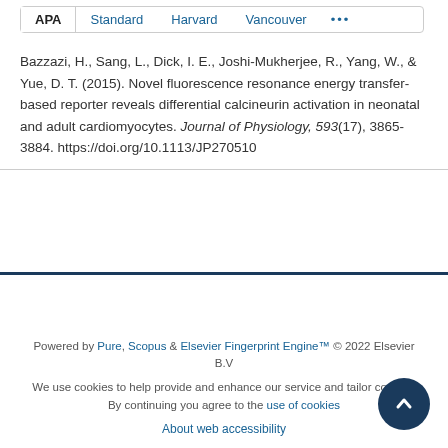APA | Standard | Harvard | Vancouver | ...
Bazzazi, H., Sang, L., Dick, I. E., Joshi-Mukherjee, R., Yang, W., & Yue, D. T. (2015). Novel fluorescence resonance energy transfer-based reporter reveals differential calcineurin activation in neonatal and adult cardiomyocytes. Journal of Physiology, 593(17), 3865-3884. https://doi.org/10.1113/JP270510
Powered by Pure, Scopus & Elsevier Fingerprint Engine™ © 2022 Elsevier B.V
We use cookies to help provide and enhance our service and tailor content. By continuing you agree to the use of cookies
About web accessibility